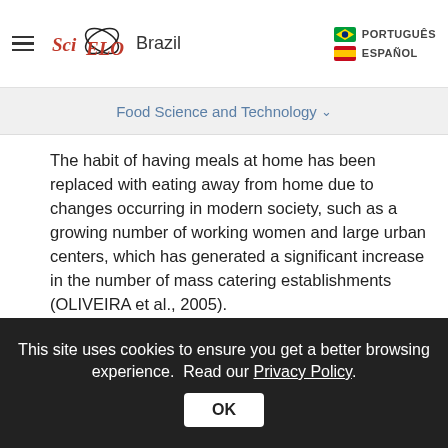SciELO Brazil | PORTUGUÊS | ESPAÑOL
Food Science and Technology
The habit of having meals at home has been replaced with eating away from home due to changes occurring in modern society, such as a growing number of working women and large urban centers, which has generated a significant increase in the number of mass catering establishments (OLIVEIRA et al., 2005).
Institutional foodservice units, which are establishments dedicated to the production and service of meals for healthy people, are an important part of the catering industry.
This site uses cookies to ensure you get a better browsing experience. Read our Privacy Policy. OK